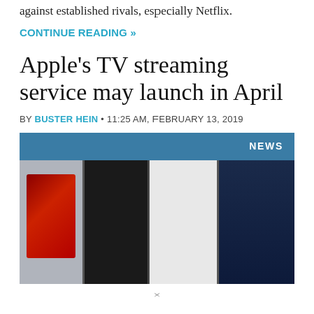against established rivals, especially Netflix.
CONTINUE READING »
Apple's TV streaming service may launch in April
BY BUSTER HEIN • 11:25 AM, FEBRUARY 13, 2019
[Figure (photo): A TV or monitor screen showing a streaming interface with multiple movie/show thumbnails including a yellow-raincoat figure, red imagery, and a person in white. A blue banner with NEWS label appears at top right.]